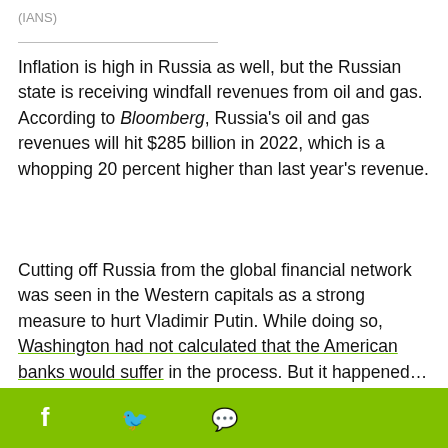(IANS)
Inflation is high in Russia as well, but the Russian state is receiving windfall revenues from oil and gas. According to Bloomberg, Russia's oil and gas revenues will hit $285 billion in 2022, which is a whopping 20 percent higher than last year's revenue.
Cutting off Russia from the global financial network was seen in the Western capitals as a strong measure to hurt Vladimir Putin. While doing so, Washington had not calculated that the American banks would suffer in the process. But it happened...
The restrictions on doing... about a possible econom...
[Figure (screenshot): Black video player overlay with close button (x), red play arrow icon, and loading spinner circle, partially covering the text below.]
Social share bar with Facebook, Twitter, and WhatsApp icons on green background